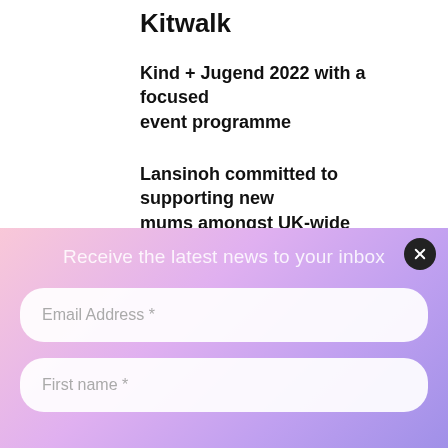Kitwalk
Kind + Jugend 2022 with a focused event programme
Lansinoh committed to supporting new mums amongst UK-wide midwife shortage
NEW is the buzz word for Harrogate
Receive the latest news to your inbox
Email Address *
First name *